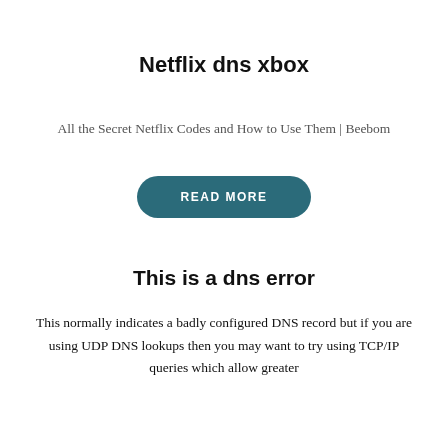Netflix dns xbox
All the Secret Netflix Codes and How to Use Them | Beebom
[Figure (other): READ MORE button — a teal rounded pill-shaped button with white uppercase text]
This is a dns error
This normally indicates a badly configured DNS record but if you are using UDP DNS lookups then you may want to try using TCP/IP queries which allow greater